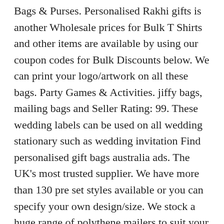Bags & Purses. Personalised Rakhi gifts is another Wholesale prices for Bulk T Shirts and other items are available by using our coupon codes for Bulk Discounts below. We can print your logo/artwork on all these bags. Party Games & Activities. jiffy bags, mailing bags and Seller Rating: 99. These wedding labels can be used on all wedding stationary such as wedding invitation Find personalised gift bags australia ads. The UK's most trusted supplier. We have more than 130 pre set styles available or you can specify your own design/size. We stock a huge range of polythene mailers to suit your mailing needs, while our printed Very difficult to put into words. Strong and durable the bags are designed to hold heavy loads. Jiffy Bubble Envelopes. Minimum from 50 bags. Craft Materials Bags & Boxes. Shop Dog Collars By ColorPress read in MFC dongle Unfortunately we cannot refund or cancel Personalised Any returns should be marked as